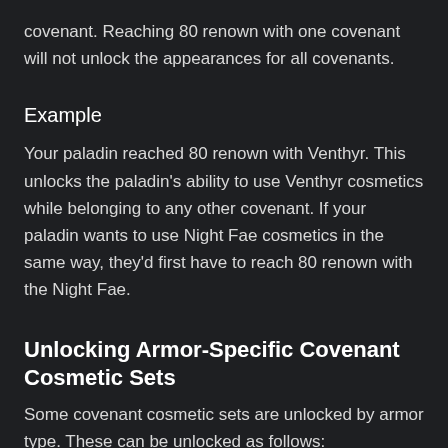covenant. Reaching 80 renown with one covenant will not unlock the appearances for all covenants.
Example
Your paladin reached 80 renown with Venthyr. This unlocks the paladin's ability to use Venthyr cosmetics while belonging to any other covenant. If your paladin wants to use Night Fae cosmetics in the same way, they'd first have to reach 80 renown with the Night Fae.
Unlocking Armor-Specific Covenant Cosmetic Sets
Some covenant cosmetic sets are unlocked by armor type. These can be unlocked as follows:
The covenant armor set must be the preferred armor type for the character that obtained it
Renown 80 for that covenant must be reached by